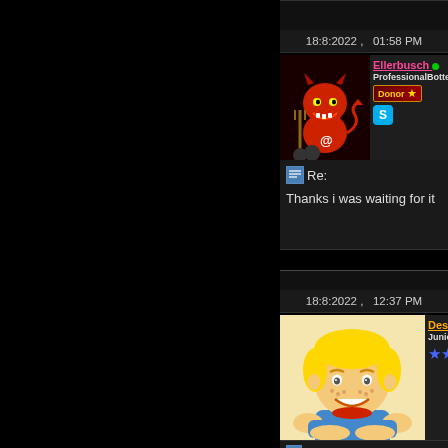18:8:2022 ,   01:58 PM
Ellerbusch • ProfessionalBotters Donor
[Figure (illustration): Red devil cartoon avatar with @ symbol]
Re:
Thanks i was waiting for it
18:8:2022 ,   12:37 PM
Desmeules • Junior Member
[Figure (illustration): Cartoon blonde boy avatar, Dennis the Menace style]
Re: Twilight phenomena